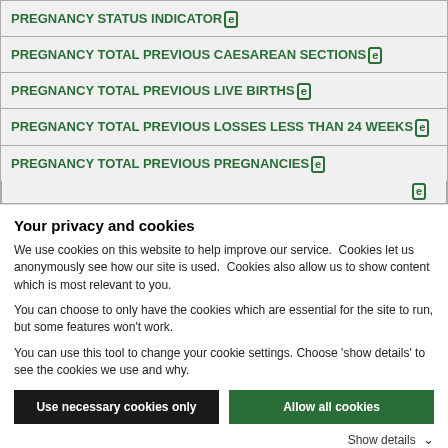| PREGNANCY STATUS INDICATOR [e] |
| PREGNANCY TOTAL PREVIOUS CAESAREAN SECTIONS [e] |
| PREGNANCY TOTAL PREVIOUS LIVE BIRTHS [e] |
| PREGNANCY TOTAL PREVIOUS LOSSES LESS THAN 24 WEEKS [e] |
| PREGNANCY TOTAL PREVIOUS PREGNANCIES [e] |
Your privacy and cookies
We use cookies on this website to help improve our service.  Cookies let us anonymously see how our site is used.  Cookies also allow us to show content which is most relevant to you.
You can choose to only have the cookies which are essential for the site to run, but some features won't work.
You can use this tool to change your cookie settings. Choose ‘show details’ to see the cookies we use and why.
Use necessary cookies only | Allow all cookies
Show details